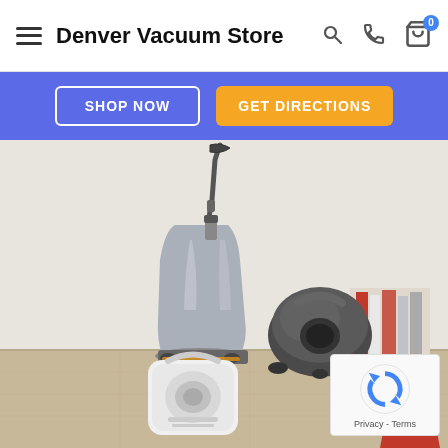Denver Vacuum Store
SHOP NOW | GET DIRECTIONS
[Figure (photo): Hero image showing multiple vacuum cleaners (upright, canister, and compact models) displayed on a light wood floor against a white wall, with books on a shelf in the background.]
[Figure (logo): reCAPTCHA widget with Google reCAPTCHA logo and Privacy - Terms text]